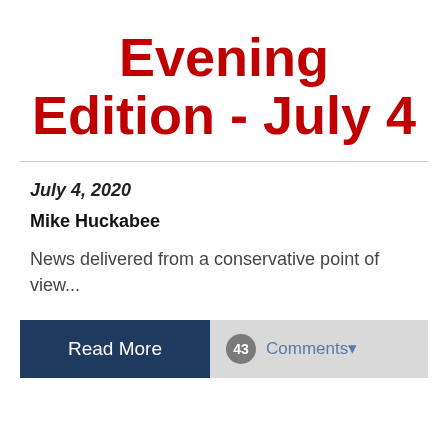Evening Edition - July 4
July 4, 2020
Mike Huckabee
News delivered from a conservative point of view...